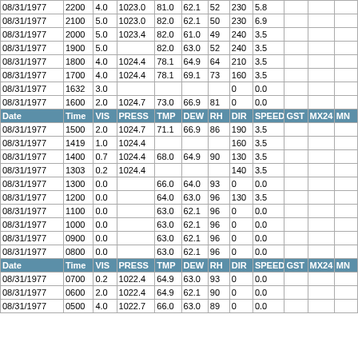| Date | Time | VIS | PRESS | TMP | DEW | RH | DIR | SPEED | GST | MX24 | MN |
| --- | --- | --- | --- | --- | --- | --- | --- | --- | --- | --- | --- |
| 08/31/1977 | 2200 | 4.0 | 1023.0 | 81.0 | 62.1 | 52 | 230 | 5.8 |  |  |  |
| 08/31/1977 | 2100 | 5.0 | 1023.0 | 82.0 | 62.1 | 50 | 230 | 6.9 |  |  |  |
| 08/31/1977 | 2000 | 5.0 | 1023.4 | 82.0 | 61.0 | 49 | 240 | 3.5 |  |  |  |
| 08/31/1977 | 1900 | 5.0 |  | 82.0 | 63.0 | 52 | 240 | 3.5 |  |  |  |
| 08/31/1977 | 1800 | 4.0 | 1024.4 | 78.1 | 64.9 | 64 | 210 | 3.5 |  |  |  |
| 08/31/1977 | 1700 | 4.0 | 1024.4 | 78.1 | 69.1 | 73 | 160 | 3.5 |  |  |  |
| 08/31/1977 | 1632 | 3.0 |  |  |  |  | 0 | 0.0 |  |  |  |
| 08/31/1977 | 1600 | 2.0 | 1024.7 | 73.0 | 66.9 | 81 | 0 | 0.0 |  |  |  |
| Date | Time | VIS | PRESS | TMP | DEW | RH | DIR | SPEED | GST | MX24 | MN |
| 08/31/1977 | 1500 | 2.0 | 1024.7 | 71.1 | 66.9 | 86 | 190 | 3.5 |  |  |  |
| 08/31/1977 | 1419 | 1.0 | 1024.4 |  |  |  | 160 | 3.5 |  |  |  |
| 08/31/1977 | 1400 | 0.7 | 1024.4 | 68.0 | 64.9 | 90 | 130 | 3.5 |  |  |  |
| 08/31/1977 | 1303 | 0.2 | 1024.4 |  |  |  | 140 | 3.5 |  |  |  |
| 08/31/1977 | 1300 | 0.0 |  | 66.0 | 64.0 | 93 | 0 | 0.0 |  |  |  |
| 08/31/1977 | 1200 | 0.0 |  | 64.0 | 63.0 | 96 | 130 | 3.5 |  |  |  |
| 08/31/1977 | 1100 | 0.0 |  | 63.0 | 62.1 | 96 | 0 | 0.0 |  |  |  |
| 08/31/1977 | 1000 | 0.0 |  | 63.0 | 62.1 | 96 | 0 | 0.0 |  |  |  |
| 08/31/1977 | 0900 | 0.0 |  | 63.0 | 62.1 | 96 | 0 | 0.0 |  |  |  |
| 08/31/1977 | 0800 | 0.0 |  | 63.0 | 62.1 | 96 | 0 | 0.0 |  |  |  |
| Date | Time | VIS | PRESS | TMP | DEW | RH | DIR | SPEED | GST | MX24 | MN |
| 08/31/1977 | 0700 | 0.2 | 1022.4 | 64.9 | 63.0 | 93 | 0 | 0.0 |  |  |  |
| 08/31/1977 | 0600 | 2.0 | 1022.4 | 64.9 | 62.1 | 90 | 0 | 0.0 |  |  |  |
| 08/31/1977 | 0500 | 4.0 | 1022.7 | 66.0 | 63.0 | 89 | 0 | 0.0 |  |  |  |